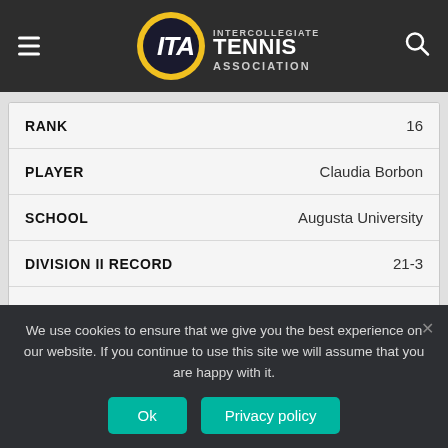[Figure (logo): ITA Intercollegiate Tennis Association logo with hamburger menu and search icon on dark nav bar]
| Field | Value |
| --- | --- |
| RANK | 16 |
| PLAYER | Claudia Borbon |
| SCHOOL | Augusta University |
| DIVISION II RECORD | 21-3 |
| PREV. | 15 |
| Field | Value |
| --- | --- |
| RANK | 17 |
We use cookies to ensure that we give you the best experience on our website. If you continue to use this site we will assume that you are happy with it.